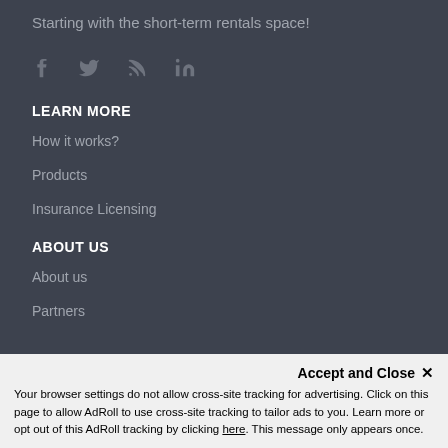Starting with the short-term rentals space!
[Figure (illustration): Social media icons: Facebook, Twitter, RSS feed, LinkedIn]
LEARN MORE
How it works?
Products
Insurance Licensing
ABOUT US
About us
Partners
Accept and Close ✕ Your browser settings do not allow cross-site tracking for advertising. Click on this page to allow AdRoll to use cross-site tracking to tailor ads to you. Learn more or opt out of this AdRoll tracking by clicking here. This message only appears once.